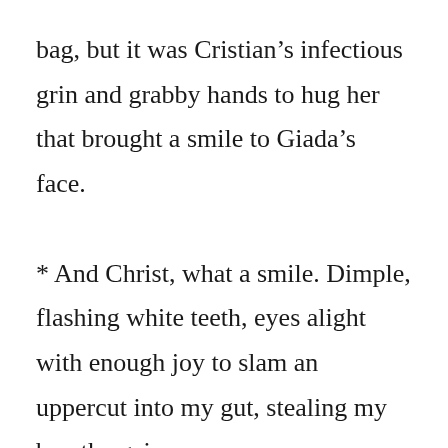bag, but it was Cristian's infectious grin and grabby hands to hug her that brought a smile to Giada's face.
* And Christ, what a smile. Dimple, flashing white teeth, eyes alight with enough joy to slam an uppercut into my gut, stealing my breath again.
* I stared as they hugged, jealousy slithering in like a damn snake to wrap coils